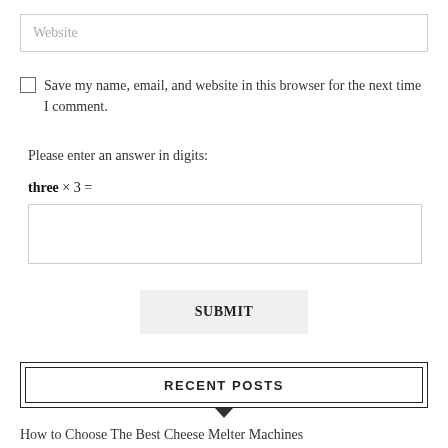Website
Save my name, email, and website in this browser for the next time I comment.
Please enter an answer in digits:
SUBMIT
RECENT POSTS
How to Choose The Best Cheese Melter Machines